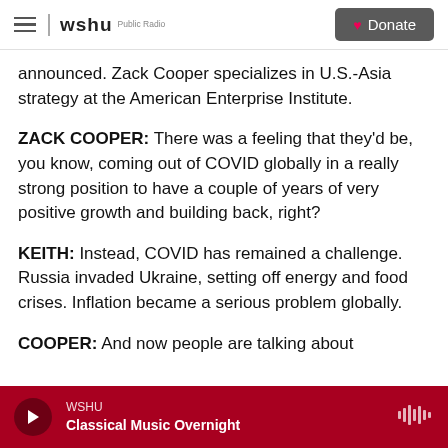wshu Public Radio — Donate
announced. Zack Cooper specializes in U.S.-Asia strategy at the American Enterprise Institute.
ZACK COOPER: There was a feeling that they'd be, you know, coming out of COVID globally in a really strong position to have a couple of years of very positive growth and building back, right?
KEITH: Instead, COVID has remained a challenge. Russia invaded Ukraine, setting off energy and food crises. Inflation became a serious problem globally.
COOPER: And now people are talking about
WSHU — Classical Music Overnight